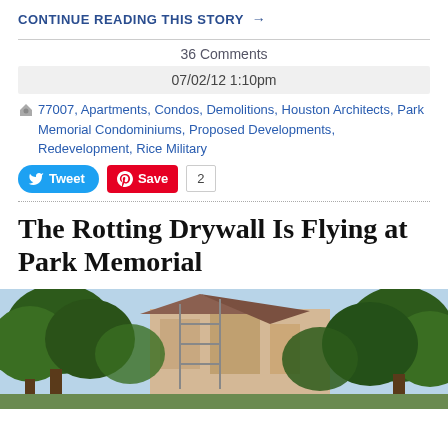CONTINUE READING THIS STORY →
36 Comments
07/02/12 1:10pm
77007, Apartments, Condos, Demolitions, Houston Architects, Park Memorial Condominiums, Proposed Developments, Redevelopment, Rice Military
Tweet  Save  2
The Rotting Drywall Is Flying at Park Memorial
[Figure (photo): Exterior photo of Park Memorial showing construction/demolition work with trees in the foreground and building structure partially visible in the background]